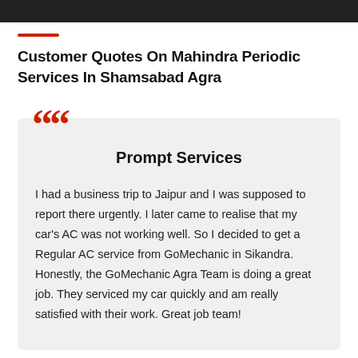[Figure (photo): Dark image bar at top of page]
Customer Quotes On Mahindra Periodic Services In Shamsabad Agra
Prompt Services
I had a business trip to Jaipur and I was supposed to report there urgently. I later came to realise that my car's AC was not working well. So I decided to get a Regular AC service from GoMechanic in Sikandra. Honestly, the GoMechanic Agra Team is doing a great job. They serviced my car quickly and am really satisfied with their work. Great job team!